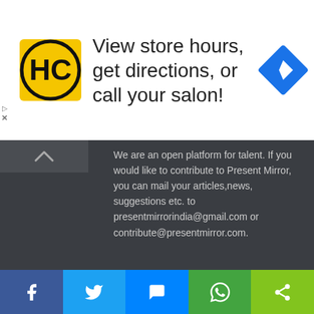[Figure (screenshot): Advertisement banner with HC logo, text 'View store hours, get directions, or call your salon!' and a blue diamond navigation icon]
We are an open platform for talent. If you would like to contribute to Present Mirror, you can mail your articles,news, suggestions etc. to presentmirrorindia@gmail.com or contribute@presentmirror.com.
Get In Touch With Us
[Figure (screenshot): Social media icons: Facebook (blue), Twitter (light blue), Email/close (red), Instagram (dark gray)]
Latest Posts
[Figure (screenshot): Bottom share bar with Facebook, Twitter, Messenger, WhatsApp, and Share icons]